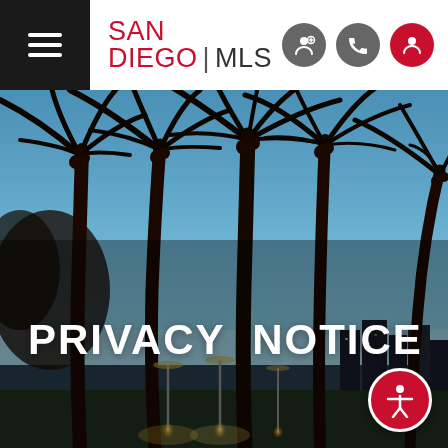SAN DIEGO | MLS
[Figure (photo): Hero background photograph of palm tree silhouettes against a twilight blue sky, with city lights and buildings visible in the background. San Diego waterfront scene.]
PRIVACY NOTICE